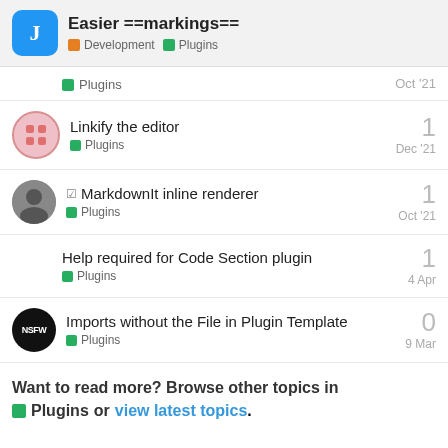Easier ==markings== — Development > Plugins
Plugins — Oct '21
Linkify the editor — Plugins — Dec '21 — 1 reply
MarkdownIt inline renderer — Plugins — Oct '21 — 1 reply
Help required for Code Section plugin — Plugins — 4 Apr — 1 reply
Imports without the File in Plugin Template — Plugins — 9 Mar — 0 replies
Want to read more? Browse other topics in Plugins or view latest topics.